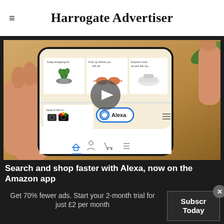Harrogate Advertiser
[Figure (screenshot): A hand holding a smartphone showing the Amazon app interface with product grid, Alexa button, play button overlay, and shopping category sections including 'Keep shopping for', 'Pick up where you left off', 'Explore more across the store', and 'Deal of the Day']
Search and shop faster with Alexa, now on the Amazon app
Get 70% fewer ads. Start your 2-month trial for just £2 per month